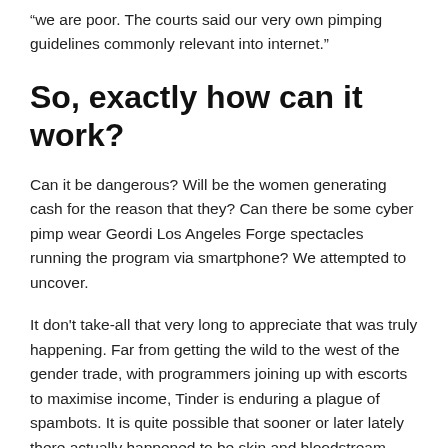“we are poor. The courts said our very own pimping guidelines commonly relevant into internet.”
So, exactly how can it work?
Can it be dangerous? Will be the women generating cash for the reason that they? Can there be some cyber pimp wear Geordi Los Angeles Forge spectacles running the program via smartphone? We attempted to uncover.
It don't take-all that very long to appreciate that was truly happening. Far from getting the wild to the west of the gender trade, with programmers joining up with escorts to maximise income, Tinder is enduring a plague of spambots. It is quite possible that sooner or later lately there actually happened to be skin and bloodstream escorts making use of Tinder, nevertheless the brand-new and common types flooding my stream look only artificial pages. The clues are unmistakeable. After matching with among the women/bots